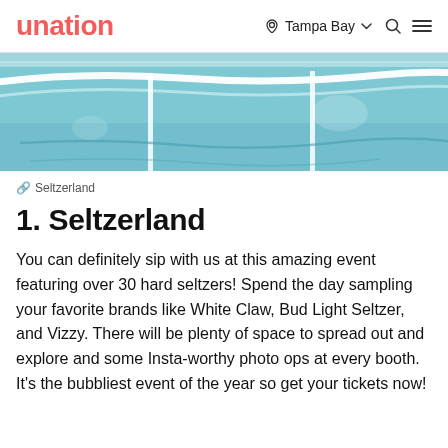unation  Tampa Bay  Search  Menu
[Figure (photo): Aerial or overhead view of a swimming pool with blue water and white lane dividers or handrails.]
🔗 Seltzerland
1. Seltzerland
You can definitely sip with us at this amazing event featuring over 30 hard seltzers! Spend the day sampling your favorite brands like White Claw, Bud Light Seltzer, and Vizzy. There will be plenty of space to spread out and explore and some Insta-worthy photo ops at every booth. It's the bubbliest event of the year so get your tickets now!